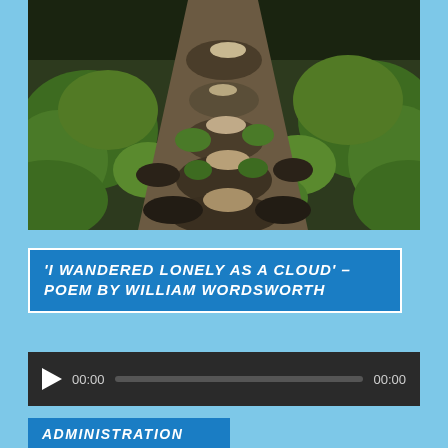[Figure (photo): Outdoor nature photograph of a muddy dirt trail or path winding through dense green grass and shrubs, viewed from above looking down the trail]
'I WANDERED LONELY AS A CLOUD' – POEM BY WILLIAM WORDSWORTH
[Figure (other): Audio player control bar with play button, time display 00:00, progress bar, and end time 00:00]
ADMINISTRATION